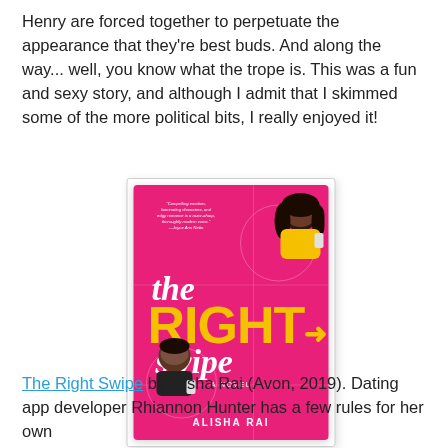Henry are forced together to perpetuate the appearance that they're best buds. And along the way... well, you know what the trope is. This was a fun and sexy story, and although I admit that I skimmed some of the more political bits, I really enjoyed it!
[Figure (photo): Book cover of 'The Right Swipe' by Alisha Rai (Avon, 2019). Hot pink background with yellow bold title text 'RIGHT', white italic script for 'the' and 'swipe', illustration of a Black woman with long hair in a yellow top holding a phone, and a man with short dark hair in a black shirt holding a phone, with grid line decorations and circular frames around each character.]
The Right Swipe by Alisha Rai (Avon, 2019). Dating app developer Rhiannon Hunter has a few rules for her own